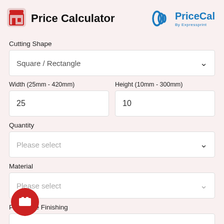Price Calculator
[Figure (logo): PriceCal by Expressprint logo with blue wave/sound icon and bold blue text]
Cutting Shape
Square / Rectangle
Width (25mm - 420mm)
Height (10mm - 300mm)
25
10
Quantity
Please select
Material
Please select
Protective Finishing
Please select